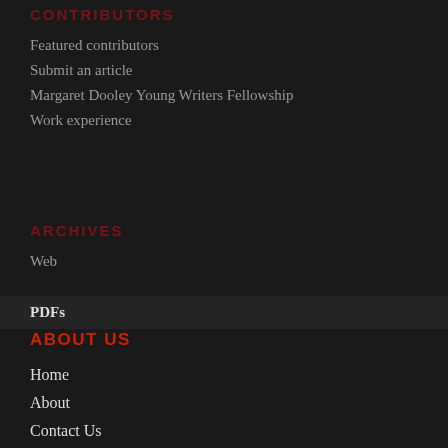CONTRIBUTORS
Featured contributors
Submit an article
Margaret Dooley Young Writers Fellowship
Work experience
ARCHIVES
Web
PDFs
ABOUT US
Home
About
Contact Us
Donate